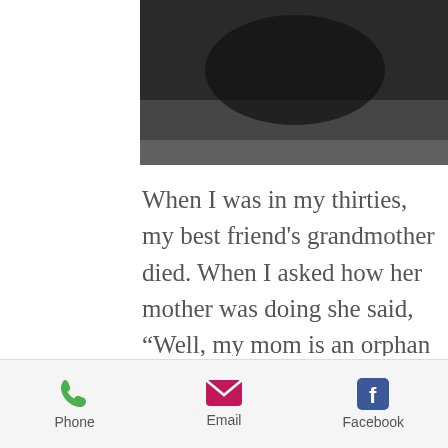[Figure (photo): A dark, blurred photograph, mostly black and dark gray tones]
When I was in my thirties, my best friend's grandmother died.  When I asked how her mother was doing she said, “Well, my mom is an orphan now.”  This caught me completely off guard.  I had just began my work in Haiti with Emmaus House.  I was dealing with the plight of orphans on a daily basis.  Her mother was a strong, successful woman in her 60’s.  How could she be an orphan?  The young people I was
Phone   Email   Facebook